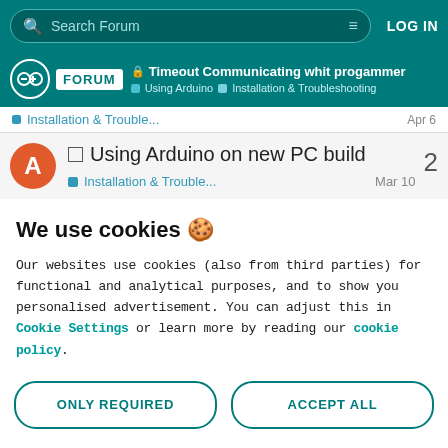Search Forum | LOG IN
Timeout Communicating whit progammer | Using Arduino > Installation & Troubleshooting
Installation & Trouble... Apr 6
Using Arduino on new PC build | Installation & Trouble... Mar 10 | 2 replies
We use cookies 🍪
Our websites use cookies (also from third parties) for functional and analytical purposes, and to show you personalised advertisement. You can adjust this in Cookie Settings or learn more by reading our cookie policy.
ONLY REQUIRED | ACCEPT ALL